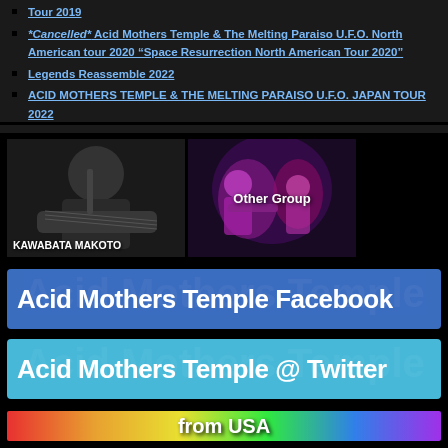Tour 2019
*Cancelled* Acid Mothers Temple & The Melting Paraiso U.F.O. North American tour 2020 “Space Resurrection North American Tour 2020”
Legends Reassemble 2022
ACID MOTHERS TEMPLE & THE MELTING PARAISO U.F.O. JAPAN TOUR 2022
[Figure (photo): Black and white photo of Kawabata Makoto playing guitar, labeled KAWABATA MAKOTO]
[Figure (photo): Photo of other group performing under purple/magenta lighting, labeled Other Group]
[Figure (other): Blue banner button: Acid Mothers Temple Facebook]
[Figure (other): Light blue banner button: Acid Mothers Temple @ Twitter]
[Figure (other): Colorful psychedelic banner with text 'from USA']